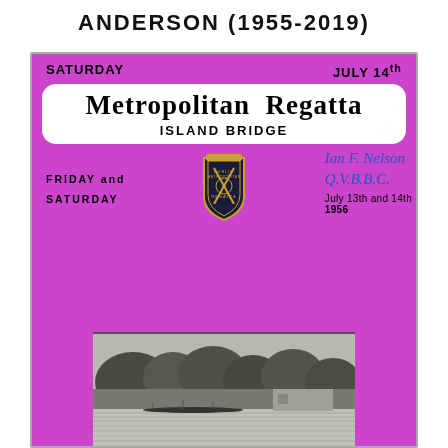ANDERSON (1955-2019)
[Figure (photo): Scan of a Metropolitan Regatta programme cover. Purple/magenta background. Top reads: SATURDAY / JULY 14th. White rounded rectangle with bold text: Metropolitan Regatta / ISLAND BRIDGE. Handwritten signature in blue ink: Ian F. Nelson / Q.V.B.B.C. Text: FRIDAY and SATURDAY / July 13th and 14th / 1956. Dublin Metropolitan Regatta emblem in centre. Black and white photo of river/trees scene at bottom.]